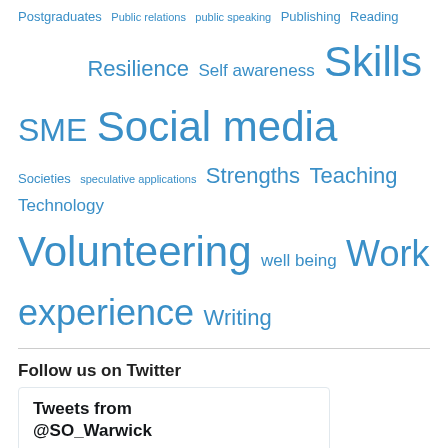Postgraduates Public relations public speaking Publishing Reading Resilience Self awareness Skills SME Social media Societies speculative applications Strengths Teaching Technology Volunteering well being Work experience Writing
Follow us on Twitter
[Figure (screenshot): Twitter widget showing Tweets from @SO_Warwick. A tweet from Warwick Uni S... (@SO_... · Aug 31) reads: What does @WarwickVol do? Take a look and find out ow.ly/I26m50KwF1J]
Tweets from @SO_Warwick
What does @WarwickVol do? Take a look and find out ow.ly/I26m50KwF1J